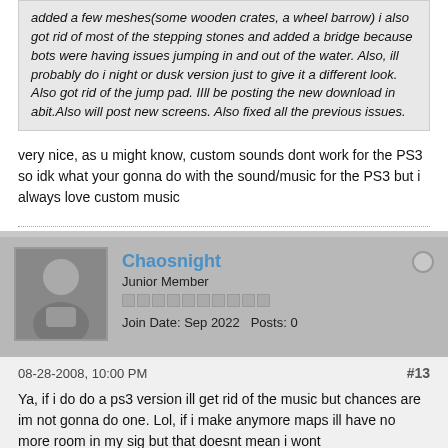(truncated/italic quoted text) added a few meshes(some wooden crates, a wheel barrow) i also got rid of most of the stepping stones and added a bridge because bots were having issues jumping in and out of the water. Also, ill probably do i night or dusk version just to give it a different look. Also got rid of the jump pad. IIll be posting the new download in abit.Also will post new screens. Also fixed all the previous issues.
very nice, as u might know, custom sounds dont work for the PS3 so idk what your gonna do with the sound/music for the PS3 but i always love custom music
Chaosnight
Junior Member
Join Date: Sep 2022   Posts: 0
08-28-2008, 10:00 PM
#13
Ya, if i do do a ps3 version ill get rid of the music but chances are im not gonna do one. Lol, if i make anymore maps ill have no more room in my sig but that doesnt mean i wont